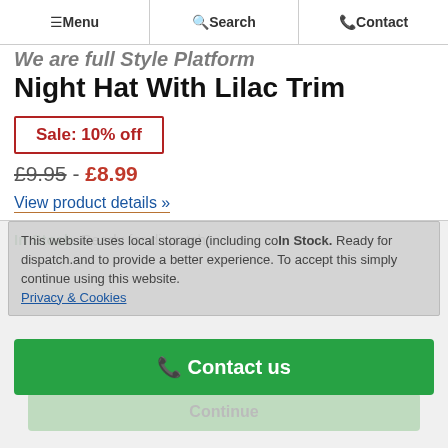Menu | Search | Contact
Night Hat With Lilac Trim
Sale: 10% off
£9.95 - £8.99
View product details »
This website uses local storage (including cookies) to personalise content and to provide a better experience. To accept this simply continue using this website.
Privacy & Cookies
In Stock. Ready for dispatch.
Contact us
Continue
⚡ Fast Dispatch